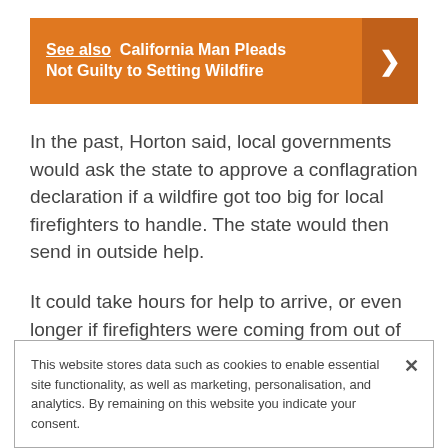[Figure (infographic): Orange 'See also' banner with text 'See also California Man Pleads Not Guilty to Setting Wildfire' and a right-arrow chevron on a darker orange background on the right side.]
In the past, Horton said, local governments would ask the state to approve a conflagration declaration if a wildfire got too big for local firefighters to handle. The state would then send in outside help.
It could take hours for help to arrive, or even longer if firefighters were coming from out of state, Horton said.
This website stores data such as cookies to enable essential site functionality, as well as marketing, personalisation, and analytics. By remaining on this website you indicate your consent.